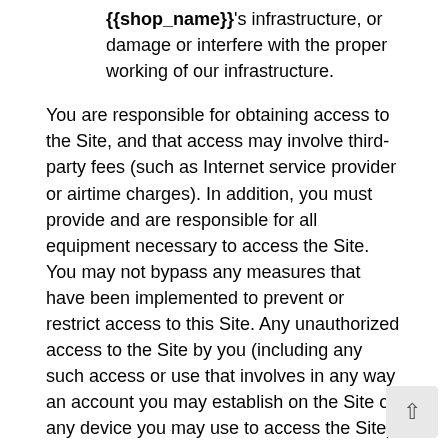{{shop_name}}'s infrastructure, or damage or interfere with the proper working of our infrastructure.
You are responsible for obtaining access to the Site, and that access may involve third-party fees (such as Internet service provider or airtime charges). In addition, you must provide and are responsible for all equipment necessary to access the Site. You may not bypass any measures that have been implemented to prevent or restrict access to this Site. Any unauthorized access to the Site by you (including any such access or use that involves in any way an account you may establish on the Site or any device you may use to access the Site) shall terminate the permission or license granted to you by {{shop_name}}.
{{shop_name}} reserves the right to refuse or cancel any person's registration for this Site, remove any person